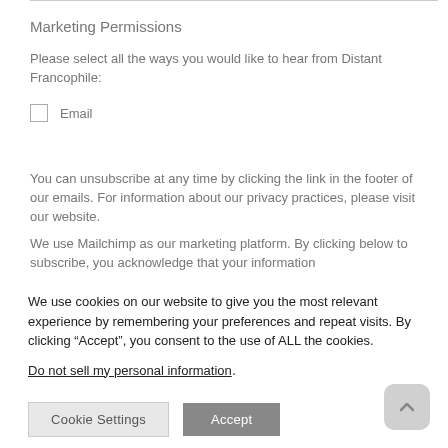Marketing Permissions
Please select all the ways you would like to hear from Distant Francophile:
Email
You can unsubscribe at any time by clicking the link in the footer of our emails. For information about our privacy practices, please visit our website.
We use Mailchimp as our marketing platform. By clicking below to subscribe, you acknowledge that your information
We use cookies on our website to give you the most relevant experience by remembering your preferences and repeat visits. By clicking “Accept”, you consent to the use of ALL the cookies.
Do not sell my personal information.